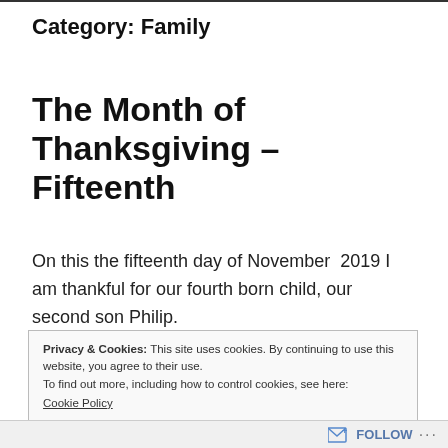Category: Family
The Month of Thanksgiving – Fifteenth
On this the fifteenth day of November 2019 I am thankful for our fourth born child, our second son Philip.
Privacy & Cookies: This site uses cookies. By continuing to use this website, you agree to their use.
To find out more, including how to control cookies, see here:
Cookie Policy
Follow ···